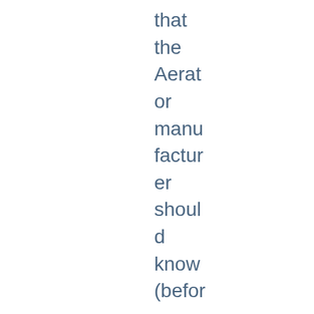that the Aerator manufacturer should know (before offering the Guar